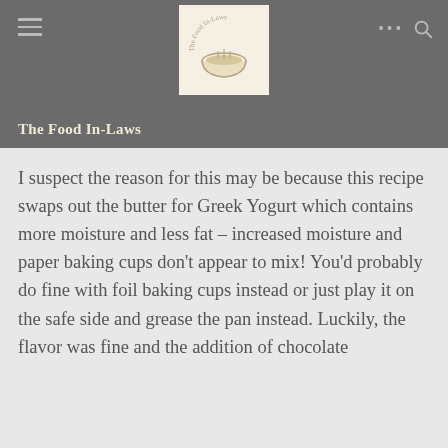The Food In-Laws
The Food In-Laws
I suspect the reason for this may be because this recipe swaps out the butter for Greek Yogurt which contains more moisture and less fat – increased moisture and paper baking cups don't appear to mix! You'd probably do fine with foil baking cups instead or just play it on the safe side and grease the pan instead. Luckily, the flavor was fine and the addition of chocolate